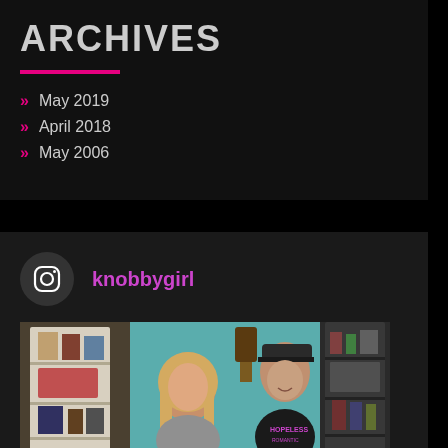ARCHIVES
May 2019
April 2018
May 2006
knobbygirl
[Figure (photo): Two people standing in front of shelves with collectibles and a cuckoo clock on a teal wall. A woman with long blonde hair in a gray shirt and a teenage boy in a black cap and black Hopeless Romantic t-shirt.]